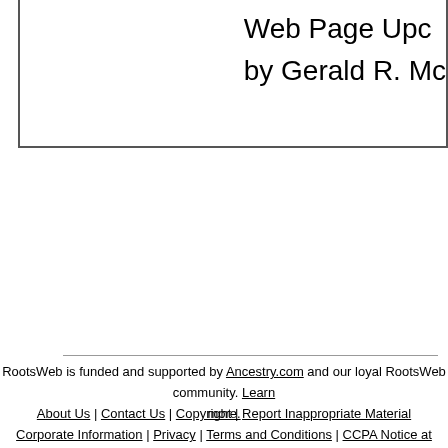Web Page Upc
by Gerald R. Mc
RootsWeb is funded and supported by Ancestry.com and our loyal RootsWeb community. Learn more.
About Us | Contact Us | Copyright | Report Inappropriate Material
Corporate Information | Privacy | Terms and Conditions | CCPA Notice at Collection